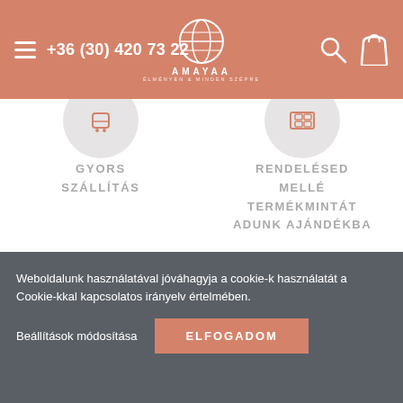+36 (30) 420 73 22 | AMAYAA
[Figure (illustration): Circular icon with phone/delivery symbol on grey circle background (partially visible top)]
[Figure (illustration): Circular icon with tablet/screen symbol on grey circle background (partially visible top)]
GYORS
SZÁLLÍTÁS
RENDELÉSED
MELLÉ
TERMÉKMINTÁT
ADUNK AJÁNDÉKBA
[Figure (illustration): Circular icon with money bag and shield with checkmark symbol, salmon/orange color, on grey circle background]
Weboldalunk használatával jóváhagyja a cookie-k használatát a Cookie-kkal kapcsolatos irányelv értelmében.
Beállítások módosítása
ELFOGADOM